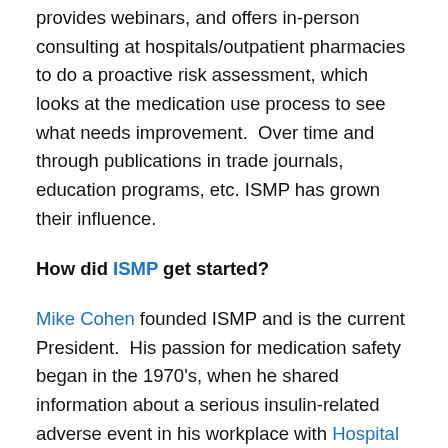provides webinars, and offers in-person consulting at hospitals/outpatient pharmacies to do a proactive risk assessment, which looks at the medication use process to see what needs improvement.  Over time and through publications in trade journals, education programs, etc. ISMP has grown their influence.
How did ISMP get started?
Mike Cohen founded ISMP and is the current President.  His passion for medication safety began in the 1970's, when he shared information about a serious insulin-related adverse event in his workplace with Hospital Pharmacy.  The information was shared in story format.